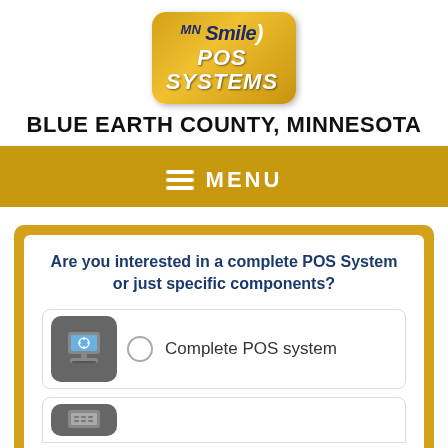[Figure (logo): MN Smile POS Systems logo — gold rounded rectangle badge with blue and white text]
BLUE EARTH COUNTY, MINNESOTA
MENU
Are you interested in a complete POS System or just specific components?
Complete POS system
(partially visible second option)